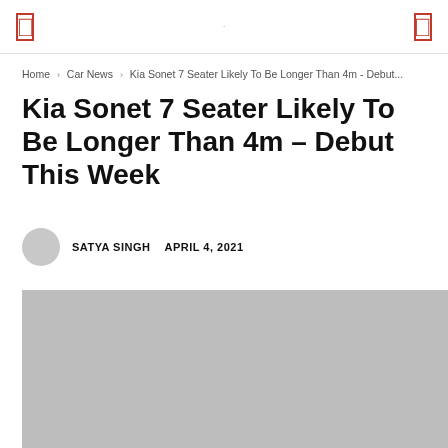Home › Car News › Kia Sonet 7 Seater Likely To Be Longer Than 4m - Debut...
Kia Sonet 7 Seater Likely To Be Longer Than 4m – Debut This Week
SATYA SINGH   APRIL 4, 2021
[Figure (photo): Grey placeholder image for Kia Sonet 7 Seater article]